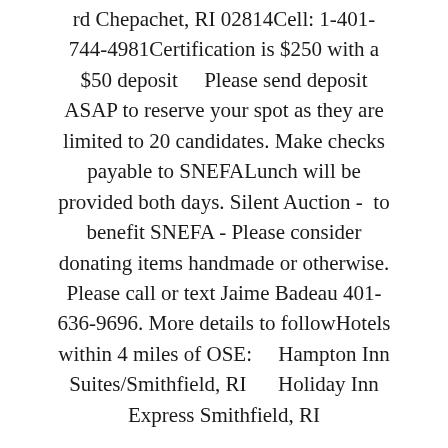rd Chepachet, RI 02814Cell: 1-401-744-4981Certification is $250 with a $50 deposit    Please send deposit ASAP to reserve your spot as they are limited to 20 candidates. Make checks payable to SNEFALunch will be provided both days. Silent Auction -  to benefit SNEFA - Please consider donating items handmade or otherwise. Please call or text Jaime Badeau 401-636-9696. More details to followHotels within 4 miles of OSE:    Hampton Inn Suites/Smithfield, RI      Holiday Inn Express Smithfield, RI